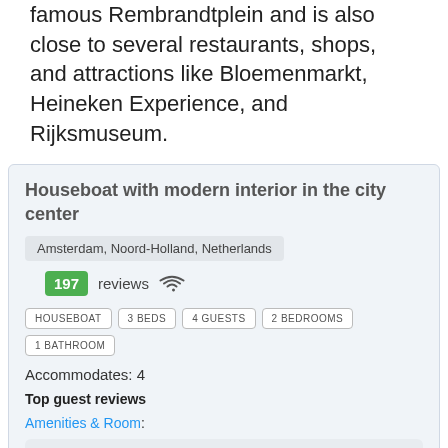Located in the city center, the houseboat is near the famous Rembrandtplein and is also close to several restaurants, shops, and attractions like Bloemenmarkt, Heineken Experience, and Rijksmuseum.
Houseboat with modern interior in the city center
Amsterdam, Noord-Holland, Netherlands
197 reviews
HOUSEBOAT | 3 BEDS | 4 GUESTS | 2 BEDROOMS | 1 BATHROOM
Accommodates: 4
Top guest reviews
Amenities & Room:
the rooms were comfortable and the kitchen area was